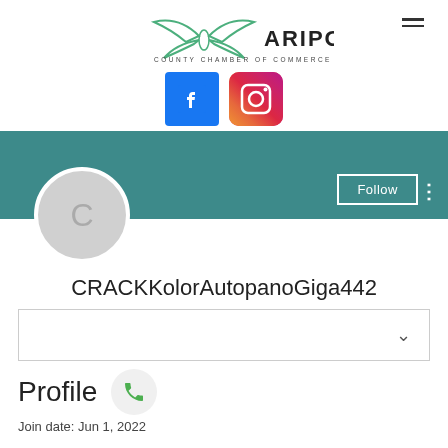[Figure (logo): Mariposa County Chamber of Commerce logo with butterfly icon and text]
[Figure (infographic): Social media icons: Facebook (blue) and Instagram (gradient pink/orange)]
[Figure (infographic): User profile banner with teal background, Follow button, avatar circle with letter C]
CRACKKolorAutopanoGiga442
Profile
Join date: Jun 1, 2022